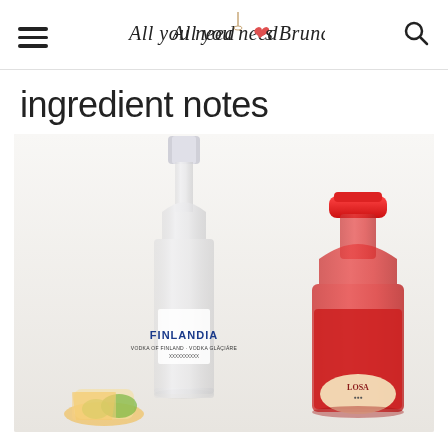All you need is Brunch
ingredient notes
[Figure (photo): A bottle of Finlandia vodka on the left and a bottle of red soda (appears to be Jarritos or similar Mexican soda with red cap) on the right, both on a white/light background with some colorful items at the bottom.]